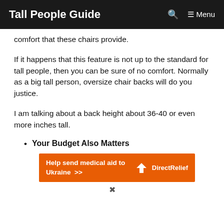Tall People Guide  Menu
comfort that these chairs provide.
If it happens that this feature is not up to the standard for tall people, then you can be sure of no comfort. Normally as a big tall person, oversize chair backs will do you justice.
I am talking about a back height about 36-40 or even more inches tall.
Your Budget Also Matters
[Figure (other): Advertisement banner: orange background with text 'Help send medical aid to Ukraine >>' and DirectRelief logo on the right.]